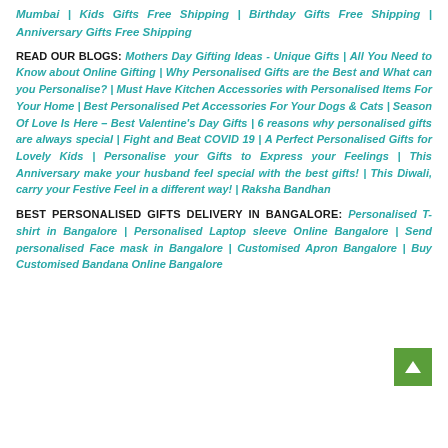Mumbar | Kids Gifts Free Shipping | Birthday Gifts Free Shipping | Anniversary Gifts Free Shipping
READ OUR BLOGS: Mothers Day Gifting Ideas - Unique Gifts | All You Need to Know about Online Gifting | Why Personalised Gifts are the Best and What can you Personalise? | Must Have Kitchen Accessories with Personalised Items For Your Home | Best Personalised Pet Accessories For Your Dogs & Cats | Season Of Love Is Here – Best Valentine's Day Gifts | 6 reasons why personalised gifts are always special | Fight and Beat COVID 19 | A Perfect Personalised Gifts for Lovely Kids | Personalise your Gifts to Express your Feelings | This Anniversary make your husband feel special with the best gifts! | This Diwali, carry your Festive Feel in a different way! | Raksha Bandhan
BEST PERSONALISED GIFTS DELIVERY IN BANGALORE: Personalised T-shirt in Bangalore | Personalised Laptop sleeve Online Bangalore | Send personalised Face mask in Bangalore | Customised Apron Bangalore | Buy Customised Bandana Online Bangalore